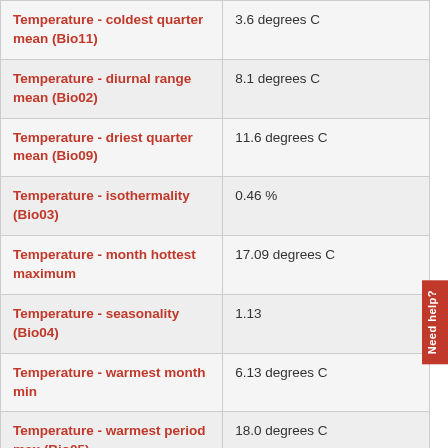| Parameter | Value |
| --- | --- |
| Temperature - coldest quarter mean (Bio11) | 3.6 degrees C |
| Temperature - diurnal range mean (Bio02) | 8.1 degrees C |
| Temperature - driest quarter mean (Bio09) | 11.6 degrees C |
| Temperature - isothermality (Bio03) | 0.46 % |
| Temperature - month hottest maximum | 17.09 degrees C |
| Temperature - seasonality (Bio04) | 1.13 |
| Temperature - warmest month min | 6.13 degrees C |
| Temperature - warmest period max (Bio05) | 18.0 degrees C |
| Temperature - warmest quarter (Bio10) | 11.7 degrees C |